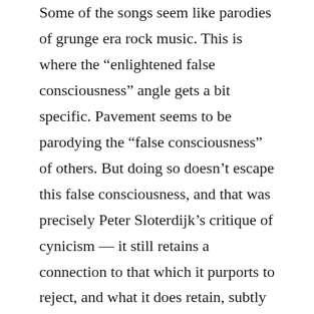Some of the songs seem like parodies of grunge era rock music. This is where the “enlightened false consciousness” angle gets a bit specific. Pavement seems to be parodying the “false consciousness” of others. But doing so doesn’t escape this false consciousness, and that was precisely Peter Sloterdijk’s critique of cynicism — it still retains a connection to that which it purports to reject, and what it does retain, subtly and unspoken, is the same lust for power and prestige, just through different techniques and strategies. Put another way, a parody of false consciousness merely steps away from the most extreme false consciousness while remaining within it, which is quite different than turning from the wrong path to the right path. If we look back to the song “Here,” it certainly contains a critique of the so-called “myth of meritocracy” of the neoliberal era, but it also displays a casual acceptance of it as well. There is a reference to joining in